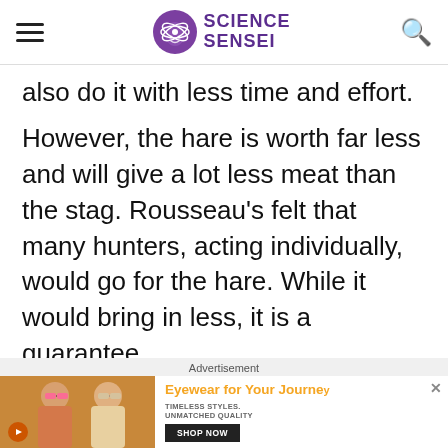Science Sensei
also do it with less time and effort. However, the hare is worth far less and will give a lot less meat than the stag. Rousseau's felt that many hunters, acting individually, would go for the hare. While it would bring in less, it is a guarantee.

However, Rousseau feels the best decision
[Figure (other): Advertisement banner for eyewear: 'Eyewear for Your Journey' with photo of two women wearing sunglasses, text 'TIMELESS STYLES. UNMATCHED QUALITY' and 'SHOP NOW' button.]